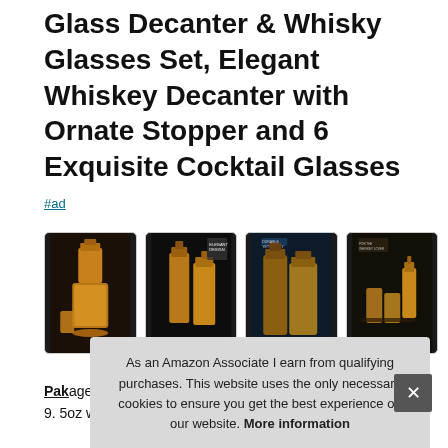Glass Decanter & Whisky Glasses Set, Elegant Whiskey Decanter with Ornate Stopper and 6 Exquisite Cocktail Glasses
#ad
[Figure (photo): Four product images of whiskey decanter and glasses sets arranged in a horizontal row]
Pak... (partially obscured) - makes reference to package contents including oz and 9.5oz whiskey tumbler glasses, all providing classic elegance.
As an Amazon Associate I earn from qualifying purchases. This website uses the only necessary cookies to ensure you get the best experience on our website. More information